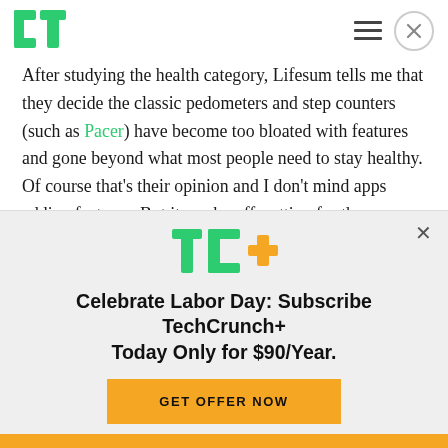[Figure (logo): TechCrunch logo — green TC lettermark in top left header]
After studying the health category, Lifesum tells me that they decide the classic pedometers and step counters (such as Pacer) have become too bloated with features and gone beyond what most people need to stay healthy. Of course that's their opinion and I don't mind apps adding features. But it can be off-putting for the average Joe. Meanwhile, the
[Figure (logo): TechCrunch TC+ logo in green and yellow]
Celebrate Labor Day: Subscribe TechCrunch+ Today Only for $90/Year.
GET OFFER NOW